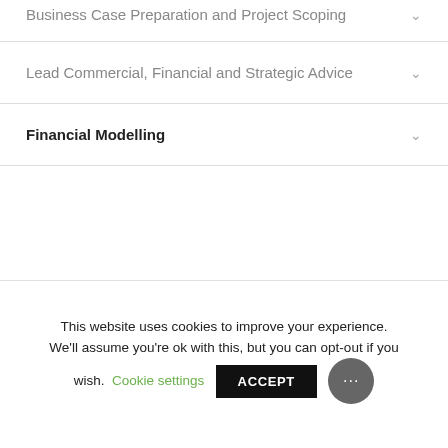Business Case Preparation and Project Scoping
Lead Commercial, Financial and Strategic Advice
Financial Modelling
This website uses cookies to improve your experience. We'll assume you're ok with this, but you can opt-out if you wish. Cookie settings ACCEPT